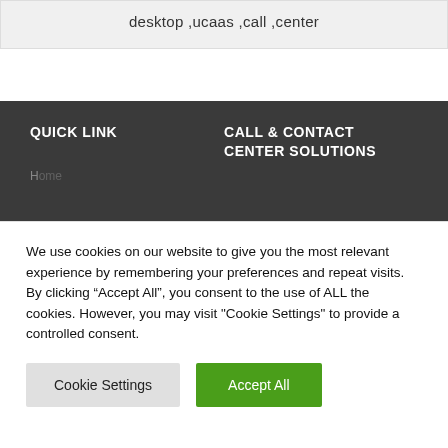desktop ,ucaas ,call ,center
QUICK LINK
CALL & CONTACT CENTER SOLUTIONS
We use cookies on our website to give you the most relevant experience by remembering your preferences and repeat visits. By clicking “Accept All”, you consent to the use of ALL the cookies. However, you may visit "Cookie Settings" to provide a controlled consent.
Cookie Settings
Accept All